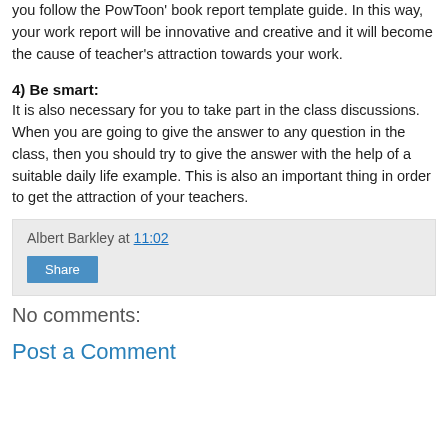you follow the PowToon' book report template guide. In this way, your work report will be innovative and creative and it will become the cause of teacher's attraction towards your work.
4) Be smart:
It is also necessary for you to take part in the class discussions. When you are going to give the answer to any question in the class, then you should try to give the answer with the help of a suitable daily life example. This is also an important thing in order to get the attraction of your teachers.
Albert Barkley at 11:02
Share
No comments:
Post a Comment